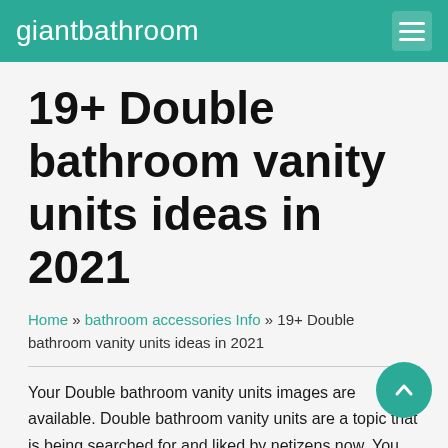giantbathroom
19+ Double bathroom vanity units ideas in 2021
Home » bathroom accessories Info » 19+ Double bathroom vanity units ideas in 2021
Your Double bathroom vanity units images are available. Double bathroom vanity units are a topic that is being searched for and liked by netizens now. You can Get the Double bathroom vanity units files here. Get all royalty-free photos and vectors.
If you're searching for double bathroom vanity units images information linked to the double bathroom vanity